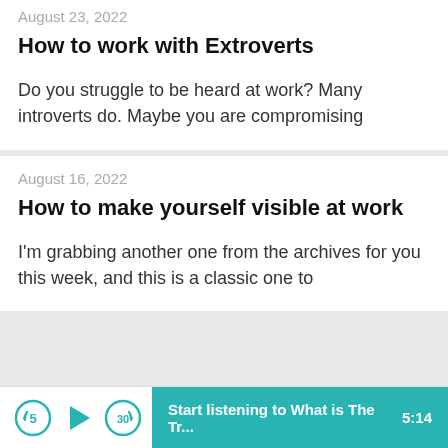August 23, 2022
How to work with Extroverts
Do you struggle to be heard at work? Many introverts do. Maybe you are compromising
August 16, 2022
How to make yourself visible at work
I'm grabbing another one from the archives for you this week, and this is a classic one to
Start listening to What is The Tr...  5:14